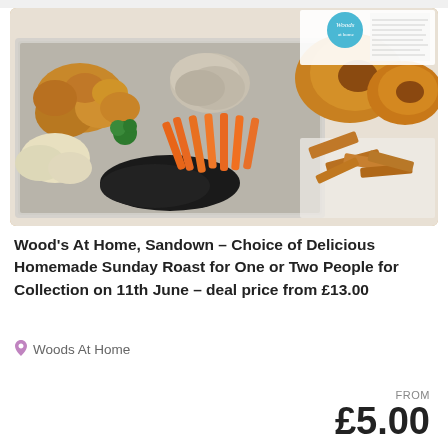[Figure (photo): A food delivery tray containing a Sunday roast with roasted potatoes, carrots, broccoli, turkey/chicken slices, black items (possibly black pudding), mashed potato, accompanied by Yorkshire puddings and crispy bacon/parsnip pieces on the side. A Woods At Home branded box is visible in the background.]
Wood's At Home, Sandown – Choice of Delicious Homemade Sunday Roast for One or Two People for Collection on 11th June – deal price from £13.00
Woods At Home
FROM £5.00